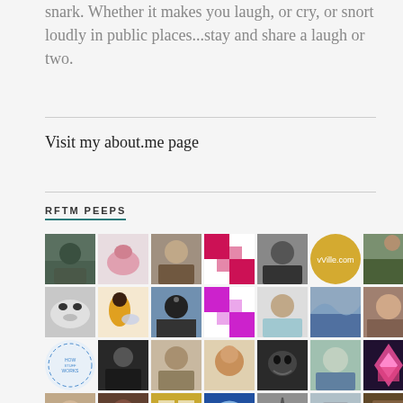snark. Whether it makes you laugh, or cry, or snort loudly in public places...stay and share a laugh or two.
Visit my about.me page
RFTM PEEPS
[Figure (photo): Grid of 28 user avatar/profile photos arranged in 4 rows of 7 columns]